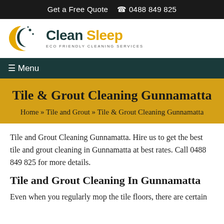Get a Free Quote  ☎ 0488 849 825
[Figure (logo): Clean Sleep Eco Friendly Cleaning Services logo with crescent moon and star icon in teal and yellow]
☰ Menu
Tile & Grout Cleaning Gunnamatta
Home » Tile and Grout » Tile & Grout Cleaning Gunnamatta
Tile and Grout Cleaning Gunnamatta. Hire us to get the best tile and grout cleaning in Gunnamatta at best rates. Call 0488 849 825 for more details.
Tile and Grout Cleaning In Gunnamatta
Even when you regularly mop the tile floors, there are certain